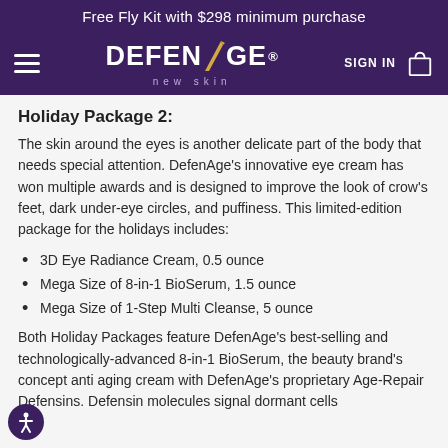Free Fly Kit with $298 minimum purchase
[Figure (logo): DefenAge new skin logo on purple navigation bar with hamburger menu, SIGN IN text, and shopping bag icon]
Holiday Package 2:
The skin around the eyes is another delicate part of the body that needs special attention. DefenAge’s innovative eye cream has won multiple awards and is designed to improve the look of crow’s feet, dark under-eye circles, and puffiness. This limited-edition package for the holidays includes:
3D Eye Radiance Cream, 0.5 ounce
Mega Size of 8-in-1 BioSerum, 1.5 ounce
Mega Size of 1-Step Multi Cleanse, 5 ounce
Both Holiday Packages feature DefenAge’s best-selling and technologically-advanced 8-in-1 BioSerum, the beauty brand’s concept anti aging cream with DefenAge’s proprietary Age-Repair Defensins. Defensin molecules signal dormant cells